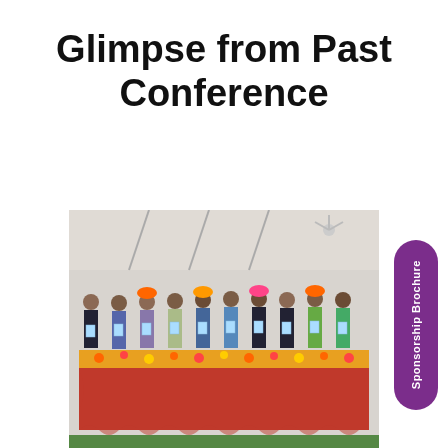Glimpse from Past Conference
[Figure (photo): Group photo of approximately 10 people at a conference ceremony, some wearing traditional Indian turbans in orange and pink, standing behind a decorated table with flowers and a red cloth. They are holding what appear to be brochures or booklets.]
Sponsorship Brochure